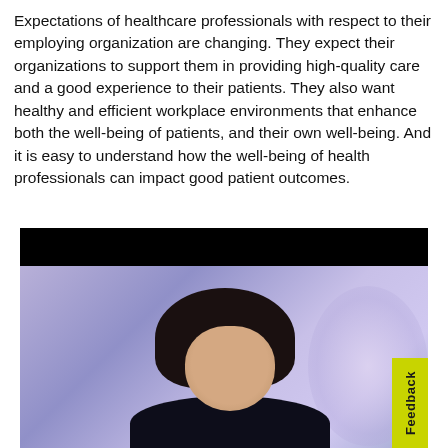Expectations of healthcare professionals with respect to their employing organization are changing. They expect their organizations to support them in providing high-quality care and a good experience to their patients. They also want healthy and efficient workplace environments that enhance both the well-being of patients, and their own well-being. And it is easy to understand how the well-being of health professionals can impact good patient outcomes.
[Figure (photo): A smiling young woman with dark hair photographed against a purple/lavender background with a black bar at the top. She appears to be looking upward and smiling. She is wearing dark clothing. There is a yellow-green 'Feedback' tab on the right side.]